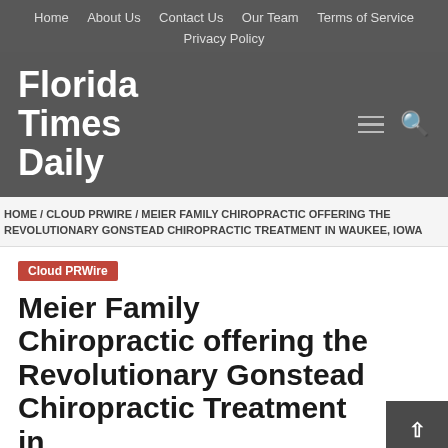Home / About Us / Contact Us / Our Team / Terms of Service / Privacy Policy
Florida Times Daily
HOME / CLOUD PRWIRE / MEIER FAMILY CHIROPRACTIC OFFERING THE REVOLUTIONARY GONSTEAD CHIROPRACTIC TREATMENT IN WAUKEE, IOWA
Cloud PRWire
Meier Family Chiropractic offering the Revolutionary Gonstead Chiropractic Treatment in